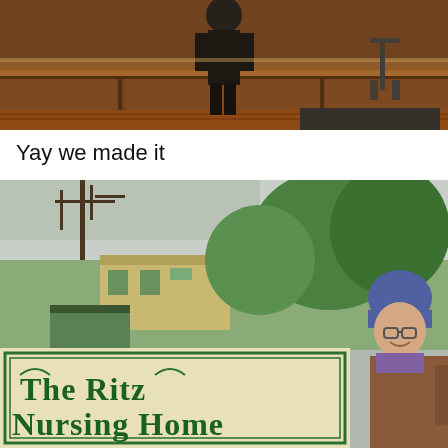[Figure (photo): Person standing at a wooden bar/counter interior, dark wood paneling, hardwood floors visible]
Yay we made it
[Figure (photo): Woman wearing purple hat and brown jacket smiling next to a sign reading 'The Ritz Nursing Home', trees and a building visible in the background]